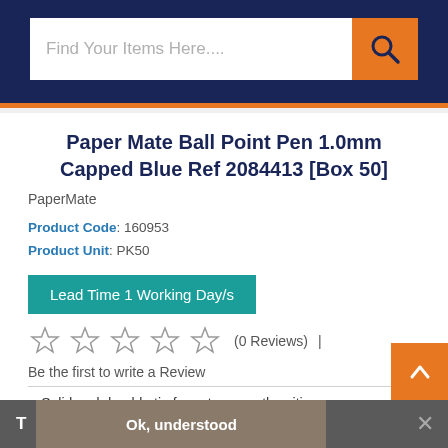Find Your Items Here....
Paper Mate Ball Point Pen 1.0mm Capped Blue Ref 2084413 [Box 50]
PaperMate
Product Code: 160953
Product Unit: PK50
Lead Time 1 Working Day/s
(0 Reviews)  |  Be the first to write a Review
Solid and durable tip for extra smooth writing
Hexagonal barrel shape for easier use
Ok, understood